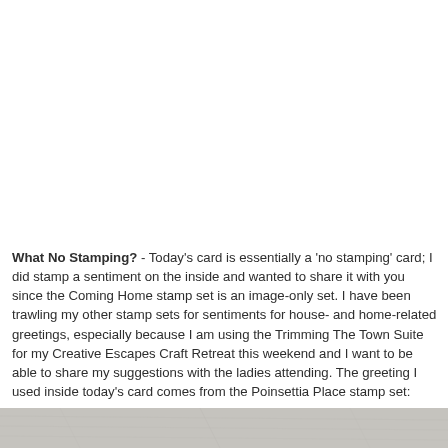[Figure (photo): White/blank upper portion of the page — appears to be a cropped photo area with no visible content]
What No Stamping? - Today's card is essentially a 'no stamping' card; I did stamp a sentiment on the inside and wanted to share it with you since the Coming Home stamp set is an image-only set. I have been trawling my other stamp sets for sentiments for house- and home-related greetings, especially because I am using the Trimming The Town Suite for my Creative Escapes Craft Retreat this weekend and I want to be able to share my suggestions with the ladies attending. The greeting I used inside today's card comes from the Poinsettia Place stamp set:
[Figure (photo): Bottom strip showing a light grey/beige textured surface — appears to be a craft or paper surface]